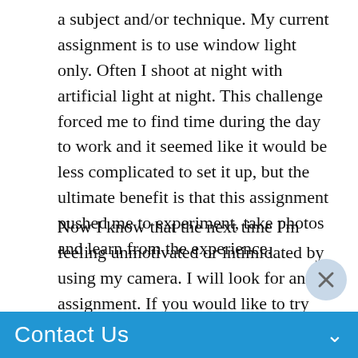a subject and/or technique. My current assignment is to use window light only. Often I shoot at night with artificial light at night. This challenge forced me to find time during the day to work and it seemed like it would be less complicated to set it up, but the ultimate benefit is that this assignment pushed me to experiment, take photos and learn from the experience.
Now I know that the next time I'm feeling unmotivated or intimidated by using my camera. I will look for an assignment. If you would like to try the same thing you can find ideas or challenges online. I find it's best to find a buddy or community AND a due date to make it happen. Many people find daily projects (the 30 day or 365 day shoot-every-day type) to be a great learning experience. I've tri[ed...sful yet. I'll[...]large
Contact Us